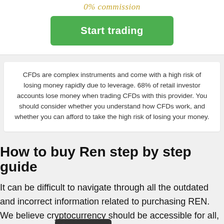0% commission
Start trading
CFDs are complex instruments and come with a high risk of losing money rapidly due to leverage. 68% of retail investor accounts lose money when trading CFDs with this provider. You should consider whether you understand how CFDs work, and whether you can afford to take the high risk of losing your money.
How to buy Ren step by step guide
It can be difficult to navigate through all the outdated and incorrect information related to purchasing REN. We believe cryptocurrency should be accessible for all, which is why [we created] this handy guide on where to buy Ren.